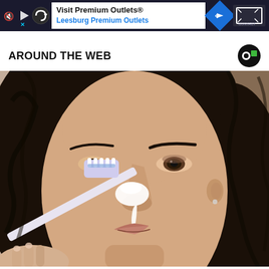[Figure (screenshot): Advertisement banner: Visit Premium Outlets® Leesburg Premium Outlets, with navigation icons on dark background]
AROUND THE WEB
[Figure (photo): Woman with dark curly hair applying white substance to nose with a toothbrush, close-up beauty/skincare video still]